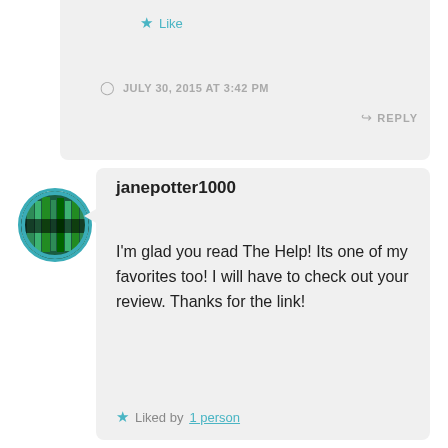★ Like
JULY 30, 2015 AT 3:42 PM
↳ REPLY
janepotter1000
I'm glad you read The Help! Its one of my favorites too! I will have to check out your review. Thanks for the link!
★ Liked by 1 person